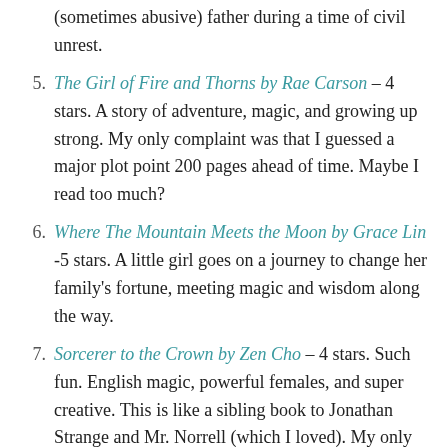(continuation) (sometimes abusive) father during a time of civil unrest.
5. The Girl of Fire and Thorns by Rae Carson – 4 stars. A story of adventure, magic, and growing up strong. My only complaint was that I guessed a major plot point 200 pages ahead of time. Maybe I read too much?
6. Where The Mountain Meets the Moon by Grace Lin -5 stars. A little girl goes on a journey to change her family's fortune, meeting magic and wisdom along the way.
7. Sorcerer to the Crown by Zen Cho – 4 stars. Such fun. English magic, powerful females, and super creative. This is like a sibling book to Jonathan Strange and Mr. Norrell (which I loved). My only complaint is that the main character, an epic female protagonist, did not enter the story soon